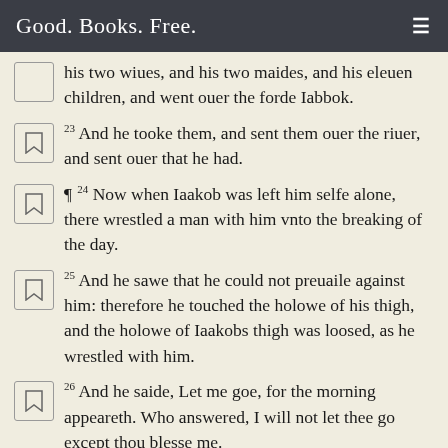Good. Books. Free.
his two wiues, and his two maides, and his eleuen children, and went ouer the forde Iabbok.
23 And he tooke them, and sent them ouer the riuer, and sent ouer that he had.
¶ 24 Now when Iaakob was left him selfe alone, there wrestled a man with him vnto the breaking of the day.
25 And he sawe that he could not preuaile against him: therefore he touched the holowe of his thigh, and the holowe of Iaakobs thigh was loosed, as he wrestled with him.
26 And he saide, Let me goe, for the morning appeareth. Who answered, I will not let thee go except thou blesse me.